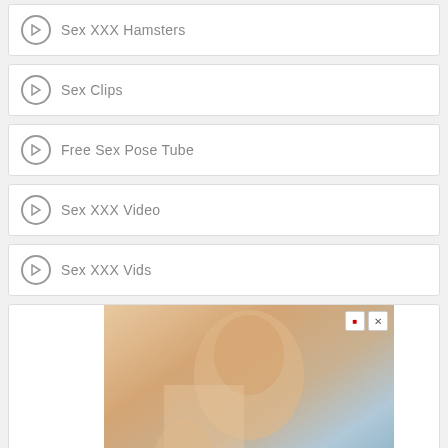Sex XXX Hamsters
Sex Clips
Free Sex Pose Tube
Sex XXX Video
Sex XXX Vids
[Figure (photo): Advertisement banner with a person, close-up photo with small close/bookmark buttons overlay in top right corner, and a scroll-to-top button in bottom right]